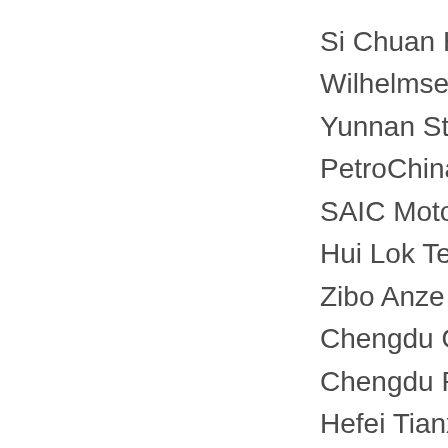Si Chuan Hongda F
Wilhelmsen Marine
Yunnan StarTrade C
PetroChina Southw
SAIC Motor Corpora
Hui Lok Technology
Zibo Anze Standard
Chengdu Omec Fire
Chengdu Pinjiezhuo
Hefei Tianxing Weiy